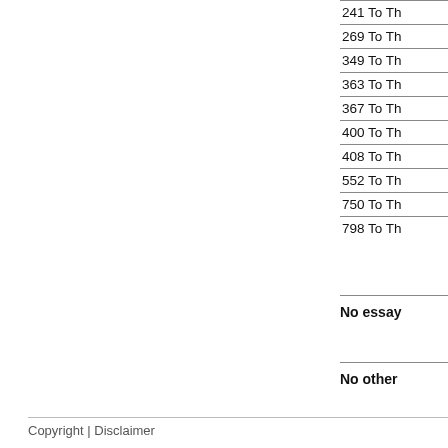[Figure (other): Gray rectangle bar visible at top right area of the page]
| 241 To Th |
| 269 To Th |
| 349 To Th |
| 363 To Th |
| 367 To Th |
| 400 To Th |
| 408 To Th |
| 552 To Th |
| 750 To Th |
| 798 To Th |
No essay
No other
Copyright | Disclaimer